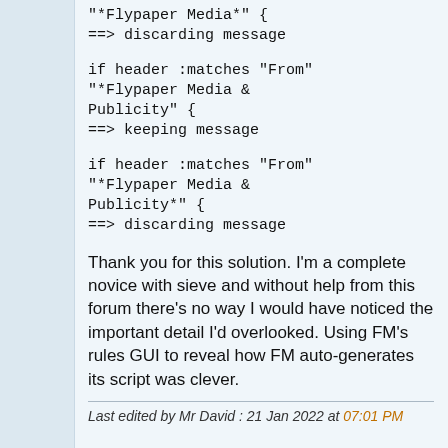"*Flypaper Media*" {
==> discarding message
if header :matches "From" "*Flypaper Media & Publicity" {
==> keeping message
if header :matches "From" "*Flypaper Media & Publicity*" {
==> discarding message
Thank you for this solution. I'm a complete novice with sieve and without help from this forum there's no way I would have noticed the important detail I'd overlooked. Using FM's rules GUI to reveal how FM auto-generates its script was clever.
Last edited by Mr David : 21 Jan 2022 at 07:01 PM